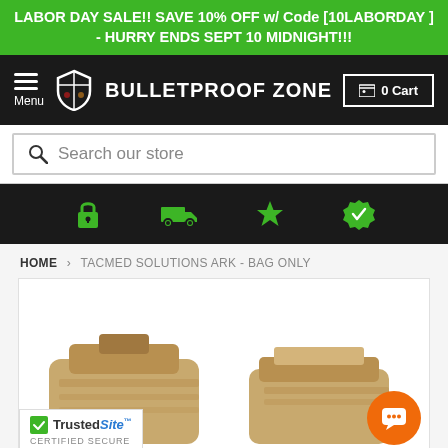LABOR DAY SALE!! SAVE 10% OFF w/ Code [10LABORDAY ] - HURRY ENDS SEPT 10 MIDNIGHT!!!
[Figure (screenshot): Bulletproof Zone navigation bar with hamburger menu, shield logo, brand name, and cart button]
[Figure (screenshot): Search bar with magnifying glass icon and placeholder text 'Search our store']
[Figure (screenshot): Dark icon bar with green lock, truck, star, and verified badge icons]
HOME › TACMED SOLUTIONS ARK - BAG ONLY
[Figure (photo): Product photo area showing tan/coyote tactical medical bags, with TrustedSite certified secure badge and orange chat bubble button]